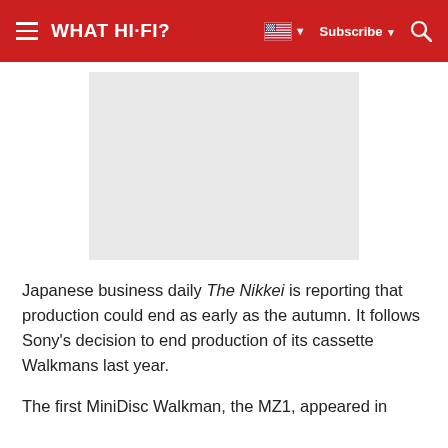WHAT HI-FI?  Subscribe
[Figure (photo): Light gray placeholder rectangle representing an article image]
Japanese business daily The Nikkei is reporting that production could end as early as the autumn. It follows Sony's decision to end production of its cassette Walkmans last year.
The first MiniDisc Walkman, the MZ1, appeared in